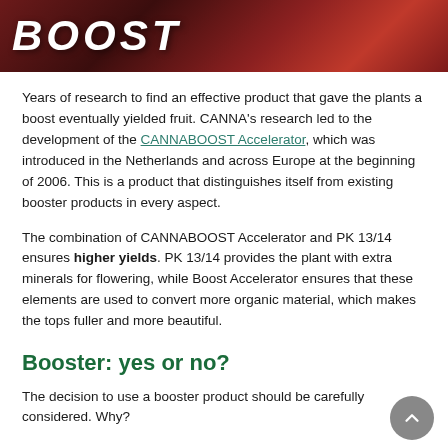[Figure (photo): Banner image showing the word BOOST in large italic white letters against a dark red/floral background]
Years of research to find an effective product that gave the plants a boost eventually yielded fruit. CANNA's research led to the development of the CANNABOOST Accelerator, which was introduced in the Netherlands and across Europe at the beginning of 2006. This is a product that distinguishes itself from existing booster products in every aspect.
The combination of CANNABOOST Accelerator and PK 13/14 ensures higher yields. PK 13/14 provides the plant with extra minerals for flowering, while Boost Accelerator ensures that these elements are used to convert more organic material, which makes the tops fuller and more beautiful.
Booster: yes or no?
The decision to use a booster product should be carefully considered. Why?